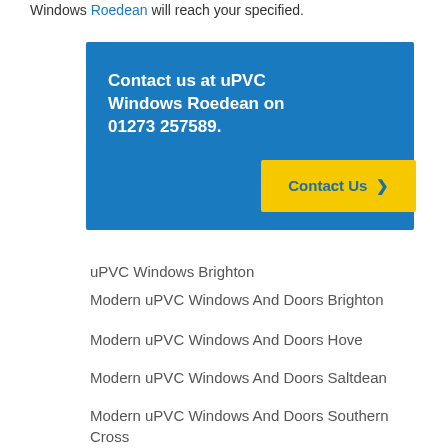Windows Roedean will reach your specified.
Contact us at uPVC Windows Roedean on 01273 257589.
Contact Us
uPVC Windows Brighton
Modern uPVC Windows And Doors Brighton
Modern uPVC Windows And Doors Hove
Modern uPVC Windows And Doors Saltdean
Modern uPVC Windows And Doors Southern Cross
Modern uPVC Windows And Doors